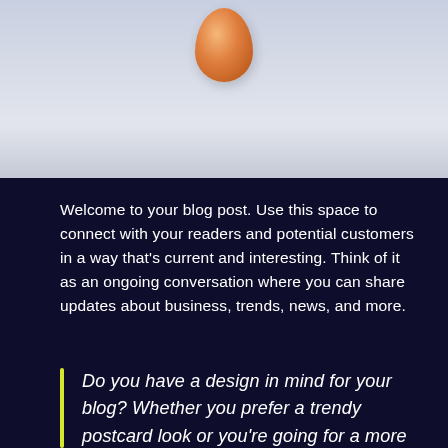[Figure (photo): Partial view of a brown/orange egg or round object against a pale blue-grey background]
Welcome to your blog post. Use this space to connect with your readers and potential customers in a way that's current and interesting. Think of it as an ongoing conversation where you can share updates about business, trends, news, and more.
Do you have a design in mind for your blog? Whether you prefer a trendy postcard look or you're going for a more